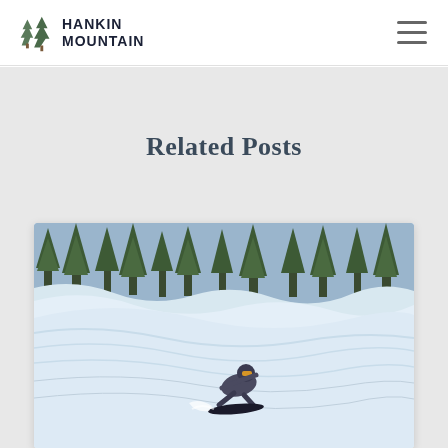HANKIN MOUNTAIN
Related Posts
[Figure (photo): A snowboarder carving down a snowy mountain slope with snow-covered pine trees in the background]